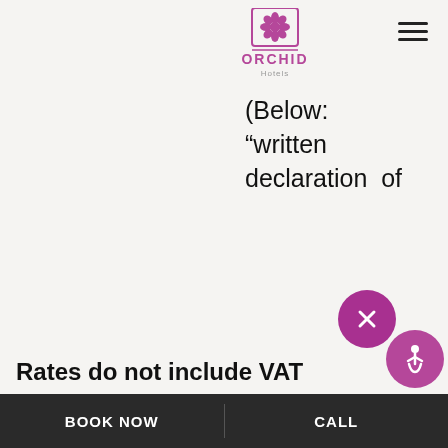[Figure (logo): Orchid Hotels logo with pink flower icon and text]
(Below: “written declaration of
Rates do not include VAT
Foreigners holding Israeli citizenship are obliged to pay VAT according to the law
hours after its reception, the User find...
BOOK NOW   CALL